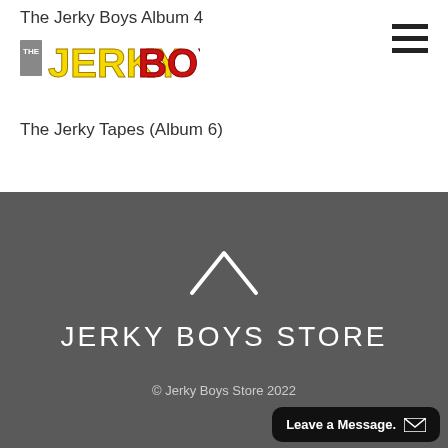The Jerky Boys Album 4
[Figure (logo): The Jerky Boys logo with stylized yellow 'JERKY' and red 'BOYS' text]
[Figure (other): Hamburger menu icon with three horizontal bars]
The Jerky Tapes (Album 6)
[Figure (other): White upward-pointing caret/chevron icon]
JERKY BOYS STORE
© Jerky Boys Store 2022
Leave a Message.